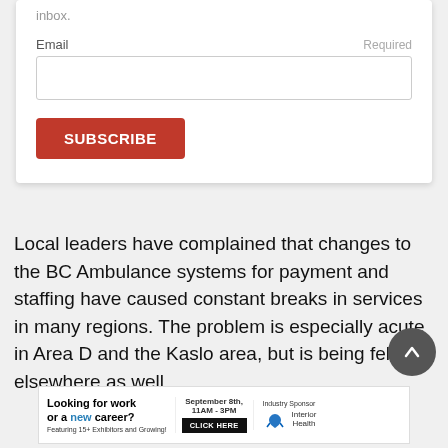inbox.
Email  Required
[Figure (screenshot): Email input field (empty text box) with Email label and Required label]
[Figure (screenshot): SUBSCRIBE button in red/orange color]
Local leaders have complained that changes to the BC Ambulance systems for payment and staffing have caused constant breaks in services in many regions. The problem is especially acute in Area D and the Kaslo area, but is being felt elsewhere as well.
[Figure (screenshot): Dark circular up-arrow button]
[Figure (infographic): Advertisement banner: Looking for work or a new career? Featuring 15+ Exhibitors and Growing! September 8th, 11AM-3PM CLICK HERE. Industry Sponsor Interior Health logo.]